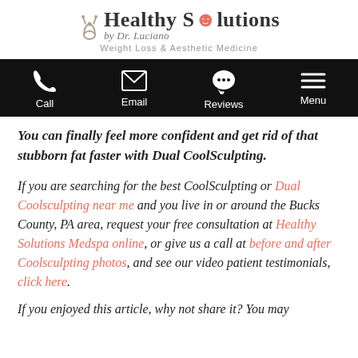[Figure (logo): Healthy Solutions by Dr. Luciano logo with stethoscope icon and tagline Weight Loss & Aesthetic Medicine]
[Figure (infographic): Black navigation bar with icons and labels: Call, Email, Reviews, Menu]
You can finally feel more confident and get rid of that stubborn fat faster with Dual CoolSculpting.
If you are searching for the best CoolSculpting or Dual Coolsculpting near me and you live in or around the Bucks County, PA area, request your free consultation at Healthy Solutions Medspa online, or give us a call at before and after Coolsculpting photos, and see our video patient testimonials, click here.
If you enjoyed this article, why not share it? You may